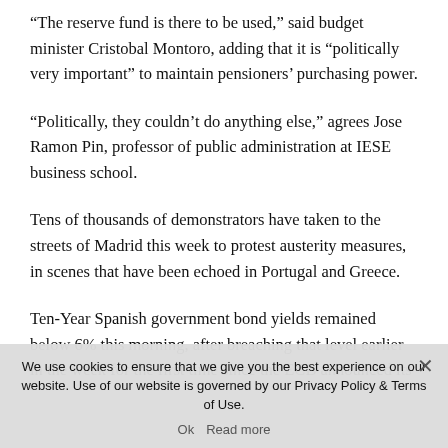“The reserve fund is there to be used,” said budget minister Cristobal Montoro, adding that it is “politically very important” to maintain pensioners’ purchasing power.
“Politically, they couldn’t do anything else,” agrees Jose Ramon Pin, professor of public administration at IESE business school.
Tens of thousands of demonstrators have taken to the streets of Madrid this week to protest austerity measures, in scenes that have been echoed in Portugal and Greece.
Ten-Year Spanish government bond yields remained below 6% this morning, after breaching that level earlier in the week for the first time since the ECB announced its
We use cookies to ensure that we give you the best experience on our website. Use of our website is governed by our Privacy Policy & Terms of Use.